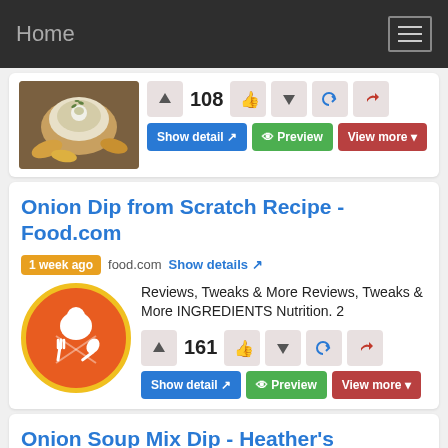Home
[Figure (screenshot): Food image showing a bowl of dip with chips]
108
Show detail | Preview | View more
Onion Dip from Scratch Recipe - Food.com
1 week ago  food.com  Show details
[Figure (logo): Orange circle with white chef hat and crossed fork and spoon icons]
Reviews, Tweaks & More Reviews, Tweaks & More INGREDIENTS Nutrition. 2
161
Show detail | Preview | View more
Onion Soup Mix Dip - Heather's